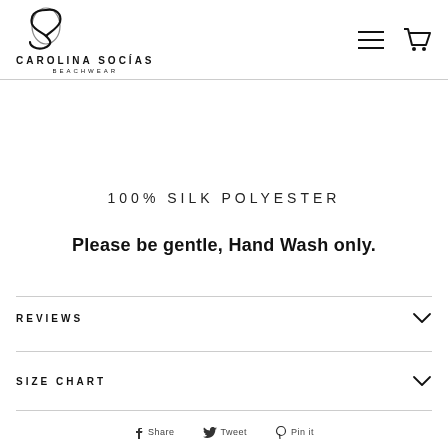CAROLINA SOCIAS BEACHWEAR
100% SILK POLYESTER
Please be gentle, Hand Wash only.
REVIEWS
SIZE CHART
Share  Tweet  Pin it